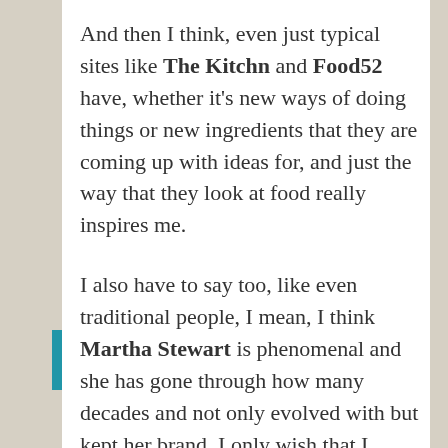And then I think, even just typical sites like The Kitchn and Food52 have, whether it's new ways of doing things or new ingredients that they are coming up with ideas for, and just the way that they look at food really inspires me.
I also have to say too, like even traditional people, I mean, I think Martha Stewart is phenomenal and she has gone through how many decades and not only evolved with but kept her brand. I only wish that I could throw a dinner party like her. Every little touch she does is really something special. And she takes the time to do it. I